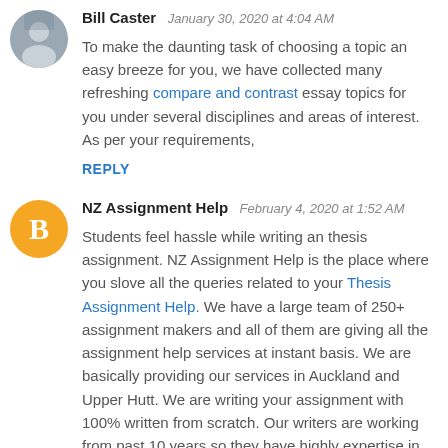Bill Caster  January 30, 2020 at 4:04 AM
To make the daunting task of choosing a topic an easy breeze for you, we have collected many refreshing compare and contrast essay topics for you under several disciplines and areas of interest. As per your requirements,
REPLY
NZ Assignment Help  February 4, 2020 at 1:52 AM
Students feel hassle while writing an thesis assignment. NZ Assignment Help is the place where you slove all the queries related to your Thesis Assignment Help. We have a large team of 250+ assignment makers and all of them are giving all the assignment help services at instant basis. We are basically providing our services in Auckland and Upper Hutt. We are writing your assignment with 100% written from scratch. Our writers are working from past 10 years so they have highly expertise in writing an assignment properly.
REPLY